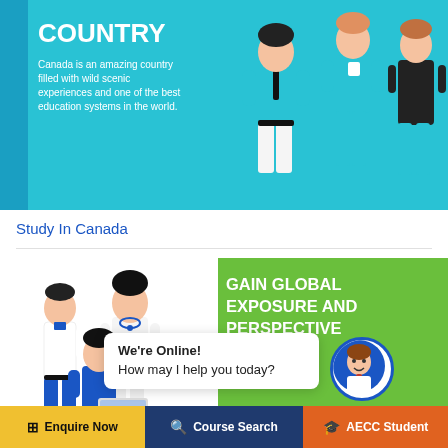[Figure (illustration): Top banner with teal background showing 'COUNTRY' heading, descriptive text about Canada, and illustrated figures of students on right side]
Study In Canada
[Figure (illustration): Bottom section with green banner showing 'GAIN GLOBAL EXPOSURE AND PERSPECTIVE' and illustrated group of students on left]
We're Online!
How may I help you today?
Enquire Now  |  Course Search  |  AECC Student